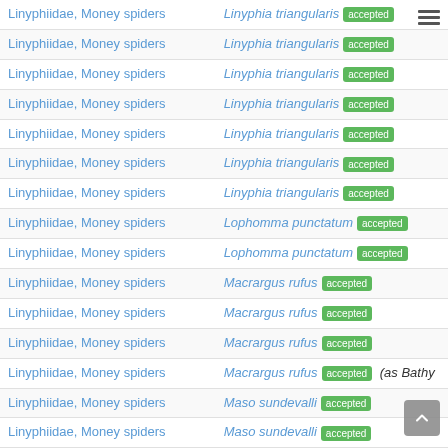| Family | Accepted name |
| --- | --- |
| Linyphiidae, Money spiders | Linyphia triangularis [accepted] |
| Linyphiidae, Money spiders | Linyphia triangularis [accepted] |
| Linyphiidae, Money spiders | Linyphia triangularis [accepted] |
| Linyphiidae, Money spiders | Linyphia triangularis [accepted] |
| Linyphiidae, Money spiders | Linyphia triangularis [accepted] |
| Linyphiidae, Money spiders | Linyphia triangularis [accepted] |
| Linyphiidae, Money spiders | Linyphia triangularis [accepted] |
| Linyphiidae, Money spiders | Lophomma punctatum [accepted] |
| Linyphiidae, Money spiders | Lophomma punctatum [accepted] |
| Linyphiidae, Money spiders | Macrargus rufus [accepted] |
| Linyphiidae, Money spiders | Macrargus rufus [accepted] |
| Linyphiidae, Money spiders | Macrargus rufus [accepted] |
| Linyphiidae, Money spiders | Macrargus rufus [accepted] (as Bothy...) |
| Linyphiidae, Money spiders | Maso sundevalli [accepted] |
| Linyphiidae, Money spiders | Maso sundevalli [accepted] |
| Linyphiidae, Money spiders | Megalepthyphantes nebulosus [accepted] |
| Linyphiidae, Money spiders | Micrargus herbigradus [accepted] |
| Linyphiidae, Money spiders | Micrargus herbigradus [accepted] |
| Linyphiidae, Money spiders | Micrargus herbigradus [accepted] |